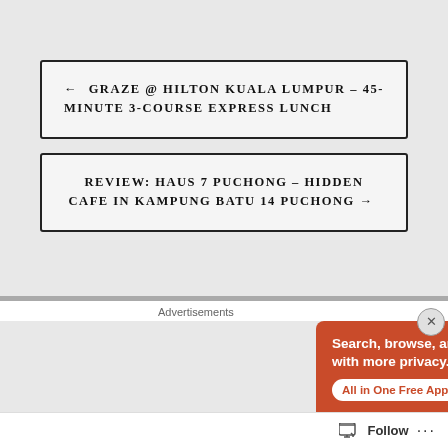← GRAZE @ HILTON KUALA LUMPUR – 45-MINUTE 3-COURSE EXPRESS LUNCH
REVIEW: HAUS 7 PUCHONG – HIDDEN CAFE IN KAMPUNG BATU 14 PUCHONG →
Advertisements
[Figure (screenshot): DuckDuckGo advertisement banner with orange background showing text 'Search, browse, and email with more privacy. All in One Free App' alongside a smartphone graphic and DuckDuckGo logo]
Follow ...